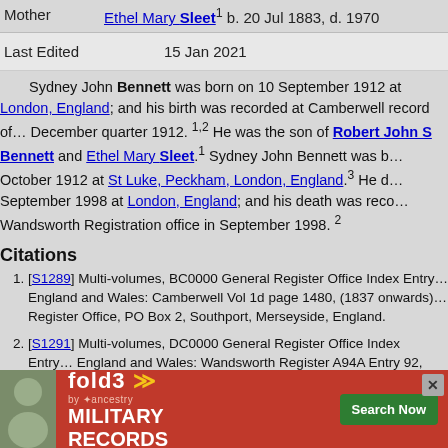Mother   Ethel Mary Sleet1 b. 20 Jul 1883, d. 1970
Last Edited   15 Jan 2021
Sydney John Bennett was born on 10 September 1912 at England; and his birth was recorded at Camberwell record office in December quarter 1912. 1,2 He was the son of Robert John S Bennett and Ethel Mary Sleet.1 Sydney John Bennett was baptised October 1912 at St Luke, Peckham, London, England.3 He died September 1998 at London, England; and his death was recorded at Wandsworth Registration office in September 1998.2
Citations
[S1289] Multi-volumes, BC0000 General Register Office Index Entry England and Wales: Camberwell Vol 1d page 1480, (1837 onwards) Register Office, PO Box 2, Southport, Merseyside, England.
[S1291] Multi-volumes, DC0000 General Register Office Index Entry England and Wales: Wandsworth Register A94A Entry 92, (1837 onwards) Register Office, PO Box 2, Southport, Merseyside, England.
[S1273] Various, A0000 Ancestry.co.uk (http://www.ancestry.co.uk/: Ancestry.co.uk, Various), London, England, Church of England Births 1813-1917 for Robert John Bennett
[Figure (screenshot): Fold3 by Ancestry advertisement banner for Military Records with Search Now button]